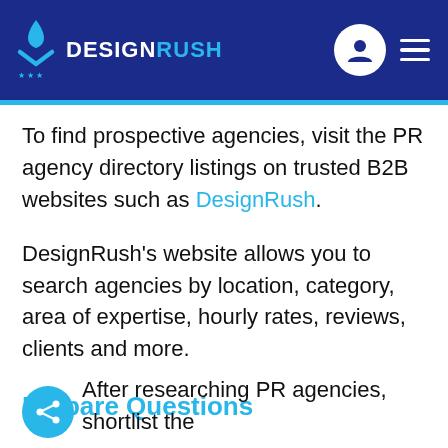DESIGNRUSH
To find prospective agencies, visit the PR agency directory listings on trusted B2B websites such as DesignRush.
DesignRush’s website allows you to search agencies by location, category, area of expertise, hourly rates, reviews, clients and more.
Prepare Questions
After researching PR agencies, shortlist the